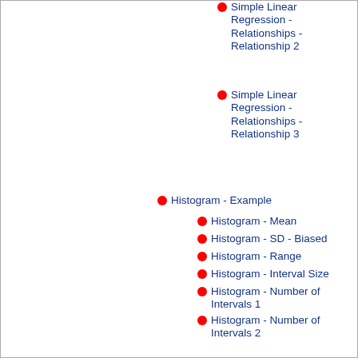Simple Linear Regression - Relationships - Relationship 2
Simple Linear Regression - Relationships - Relationship 3
Histogram - Example
Histogram - Mean
Histogram - SD - Biased
Histogram - Range
Histogram - Interval Size
Histogram - Number of Intervals 1
Histogram - Number of Intervals 2
Histogram - Number of Intervals 3
Histogram - Goodness of Fit
Skewness and Peakedness (Kurtosis) - Example
Skewness and Peakedness - Skewness
Skewness and Peakedness - Skewness - Pearson 1 - Statistic
Skewness and